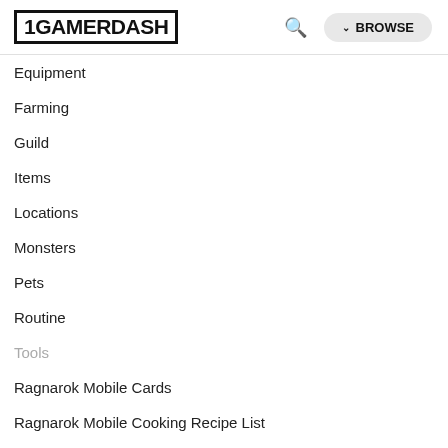1GAMERDASH | Search | BROWSE
Equipment
Farming
Guild
Items
Locations
Monsters
Pets
Routine
Tools
Ragnarok Mobile Cards
Ragnarok Mobile Cooking Recipe List